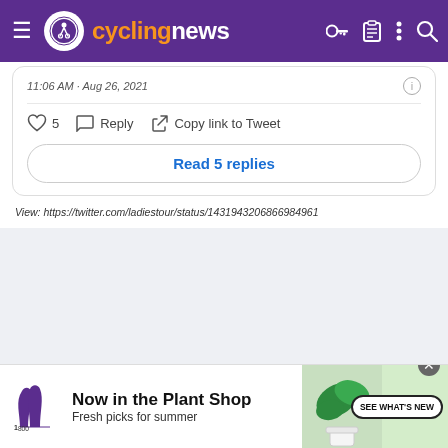cyclingnews
11:06 AM · Aug 26, 2021
♡ 5   Reply   Copy link to Tweet
Read 5 replies
View: https://twitter.com/ladiestour/status/143194320686698496​1
[Figure (screenshot): Advertisement banner for 1-800-flowers.com: Now in the Plant Shop. Fresh picks for summer. SEE WHAT'S NEW button with plant image.]